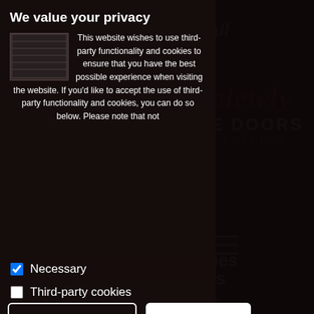[Figure (screenshot): Background of a garage doors company website showing 'Tap to Call', 'Completely Garage Doors 25 Years of Experience' logo, hamburger menu icon, and text 'Repairing All Types of Garage Doors in Harrow']
We value your privacy
This website wishes to use third-party functionality and cookies to ensure that you have the best possible experience when visiting the website. If you'd like to accept the use of third-party functionality and cookies, you can do so below. Please note that not
Necessary
Third-party cookies
Accept selected
Accept all